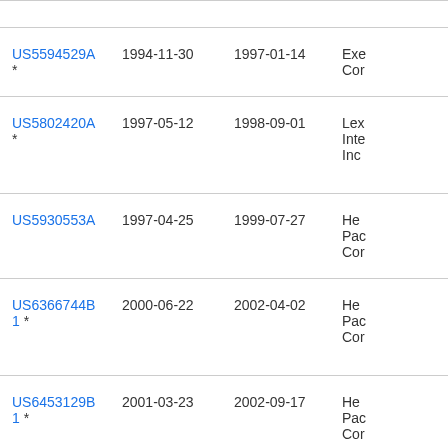| Patent | Filed | Publication Date | Assignee |
| --- | --- | --- | --- |
| US5594529A * | 1994-11-30 | 1997-01-14 | Exe
Cor |
| US5802420A * | 1997-05-12 | 1998-09-01 | Lex
Inte
Inc |
| US5930553A | 1997-04-25 | 1999-07-27 | He
Pac
Cor |
| US6366744B1 * | 2000-06-22 | 2002-04-02 | He
Pac
Cor |
| US6453129B1 * | 2001-03-23 | 2002-09-17 | He
Pac
Cor |